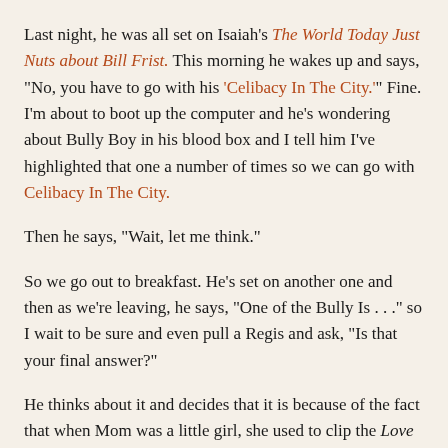Last night, he was all set on Isaiah's The World Today Just Nuts about Bill Frist. This morning he wakes up and says, "No, you have to go with his 'Celibacy In The City.'" Fine. I'm about to boot up the computer and he's wondering about Bully Boy in his blood box and I tell him I've highlighted that one a number of times so we can go with Celibacy In The City.
Then he says, "Wait, let me think."
So we go out to breakfast. He's set on another one and then as we're leaving, he says, "One of the Bully Is . . ." so I wait to be sure and even pull a Regis and ask, "Is that your final answer?"
He thinks about it and decides that it is because of the fact that when Mom was a little girl, she used to clip the Love Is . . . comic strips from the paper and she'd tape them to her bedroom mirror and on her bedroom door. (Which is news to me who couldn't even put up my sports posters with tacks!) (Serious, I had to use that ticky tacky stuff and it was only after I noticed my teacher using that to hang stuff on the walls at school that I got to put anything up on my bedroom walls.)